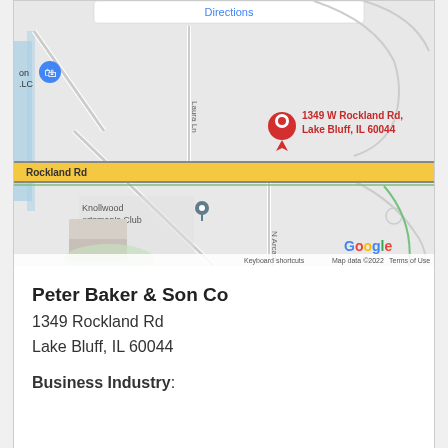[Figure (map): Google Maps screenshot showing 1349 W Rockland Rd, Lake Bluff, IL 60044 with a red location pin. Map shows Rockland Rd (highlighted in gold/yellow), Laura Ln, N Arcadi street, Knollwood Sportsman's Club marker, and Google branding with keyboard shortcuts, map data copyright 2022, and Terms of Use.]
Peter Baker & Son Co
1349 Rockland Rd
Lake Bluff, IL 60044
Business Industry: